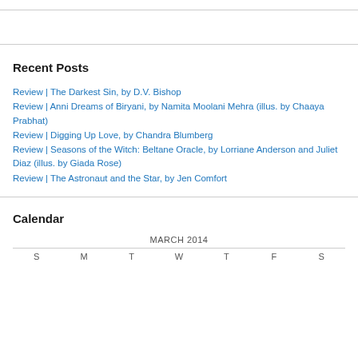Recent Posts
Review | The Darkest Sin, by D.V. Bishop
Review | Anni Dreams of Biryani, by Namita Moolani Mehra (illus. by Chaaya Prabhat)
Review | Digging Up Love, by Chandra Blumberg
Review | Seasons of the Witch: Beltane Oracle, by Lorriane Anderson and Juliet Diaz (illus. by Giada Rose)
Review | The Astronaut and the Star, by Jen Comfort
Calendar
MARCH 2014
| S | M | T | W | T | F | S |
| --- | --- | --- | --- | --- | --- | --- |